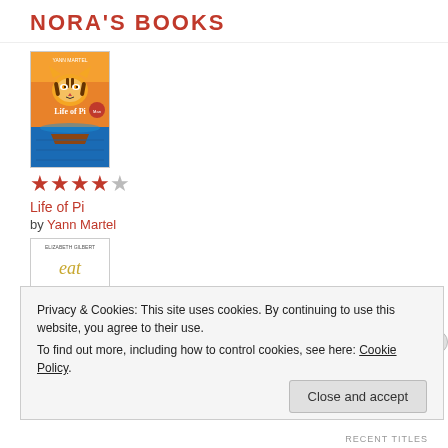NORA'S BOOKS
[Figure (illustration): Book cover of Life of Pi showing a tiger on a boat with orange and blue background]
★★★★☆
Life of Pi
by Yann Martel
[Figure (illustration): Book cover of Eat Pray Love with stylized text on white background]
★★★★☆
Eat, Pray, Love
Privacy & Cookies: This site uses cookies. By continuing to use this website, you agree to their use. To find out more, including how to control cookies, see here: Cookie Policy
Close and accept